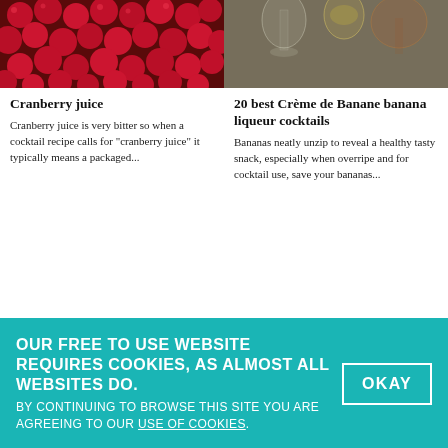[Figure (photo): Close-up of red cranberries filling the frame]
Cranberry juice
Cranberry juice is very bitter so when a cocktail recipe calls for "cranberry juice" it typically means a packaged...
[Figure (photo): Overhead shot of cocktail glasses on a dark surface]
20 best Crème de Banane banana liqueur cocktails
Bananas neatly unzip to reveal a healthy tasty snack, especially when overripe and for cocktail use, save your bananas...
[Figure (photo): A cocktail in a coupe glass with a lemon garnish against a black background]
[Figure (photo): A cocktail in a rocks glass with mint garnish against a black background]
OUR FREE TO USE WEBSITE REQUIRES COOKIES, AS ALMOST ALL WEBSITES DO. BY CONTINUING TO BROWSE THIS SITE YOU ARE AGREEING TO OUR USE OF COOKIES.